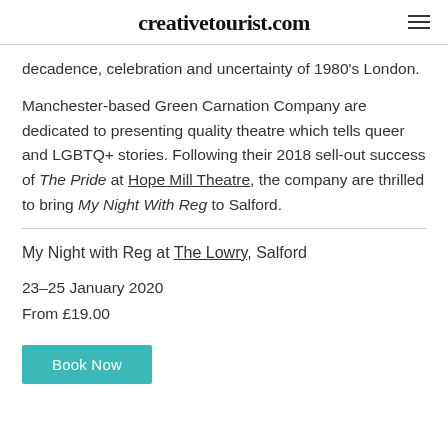creativetourist.com
decadence, celebration and uncertainty of 1980's London.
Manchester-based Green Carnation Company are dedicated to presenting quality theatre which tells queer and LGBTQ+ stories. Following their 2018 sell-out success of The Pride at Hope Mill Theatre, the company are thrilled to bring My Night With Reg to Salford.
My Night with Reg at The Lowry, Salford
23–25 January 2020
From £19.00
Book Now